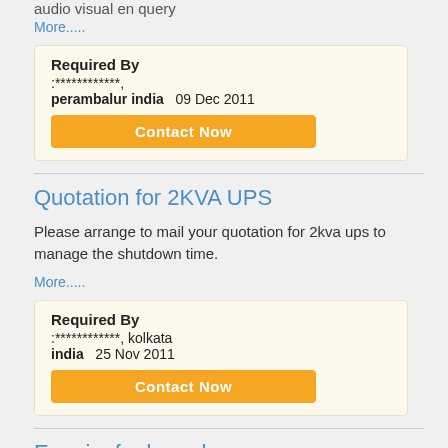audio visual en query
More.....
Required By :************, perambalur india  09 Dec 2011
Contact Now
Quotation for 2KVA UPS
Please arrange to mail your quotation for 2kva ups to manage the shutdown time.
More.....
Required By :************, kolkata india  25 Nov 2011
Contact Now
Enquiry for karaoke